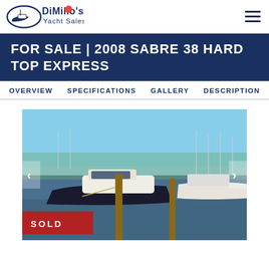[Figure (logo): DiMillo's Yacht Sales logo with boat icon]
FOR SALE | 2008 SABRE 38 HARD TOP EXPRESS
OVERVIEW  SPECIFICATIONS  GALLERY  DESCRIPTION
[Figure (photo): Photo of a 2008 Sabre 38 Hard Top Express boat docked at a marina with a SOLD badge overlay in the lower left corner]